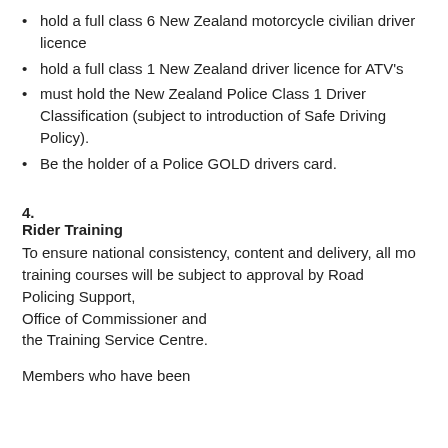hold a full class 6 New Zealand motorcycle civilian driver licence
hold a full class 1 New Zealand driver licence for ATV's
must hold the New Zealand Police Class 1 Driver Classification (subject to introduction of Safe Driving Policy).
Be the holder of a Police GOLD drivers card.
4.
Rider Training
To ensure national consistency, content and delivery, all mo training courses will be subject to approval by Road Policing Support, Office of Commissioner and the Training Service Centre.
Members who have been